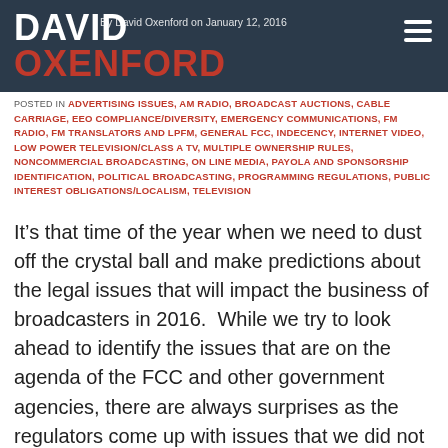DAVID OXENFORD
By David Oxenford on January 12, 2016
POSTED IN ADVERTISING ISSUES, AM RADIO, BROADCAST AUCTIONS, CABLE CARRIAGE, EEO COMPLIANCE/DIVERSITY, EMERGENCY COMMUNICATIONS, FM RADIO, FM TRANSLATORS AND LPFM, GENERAL FCC, INDECENCY, INTERNET VIDEO, LOW POWER TELEVISION/CLASS A TV, MULTIPLE OWNERSHIP RULES, NONCOMMERCIAL BROADCASTING, ON LINE MEDIA, PAYOLA AND SPONSORSHIP IDENTIFICATION, POLITICAL BROADCASTING, PROGRAMMING REGULATIONS, PUBLIC INTEREST OBLIGATIONS/LOCALISM, TELEVISION
It’s that time of the year when we need to dust off the crystal ball and make predictions about the legal issues that will impact the business of broadcasters in 2016.  While we try to look ahead to identify the issues that are on the agenda of the FCC and other government agencies, there are always surprises as the regulators come up with issues that we did not anticipate. With this being an election year, issues may arise as regulators look to